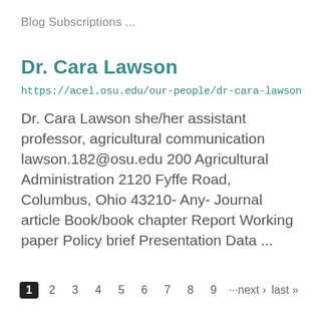Blog Subscriptions ...
Dr. Cara Lawson
https://acel.osu.edu/our-people/dr-cara-lawson
Dr. Cara Lawson she/her assistant professor, agricultural communication lawson.182@osu.edu 200 Agricultural Administration 2120 Fyffe Road, Columbus, Ohio 43210- Any- Journal article Book/book chapter Report Working paper Policy brief Presentation Data ...
1 2 3 4 5 6 7 8 9 ···next › last »